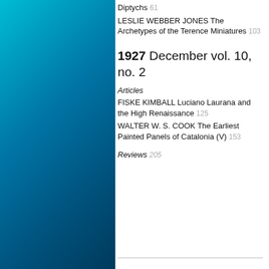[Figure (illustration): Cyan to dark blue gradient decorative panel on the left side of the page]
Diptychs 61
LESLIE WEBBER JONES The Archetypes of the Terence Miniatures 103
1927 December vol. 10, no. 2
Articles
FISKE KIMBALL Luciano Laurana and the High Renaissance 125
WALTER W. S. COOK The Earliest Painted Panels of Catalonia (V) 153
Reviews 205